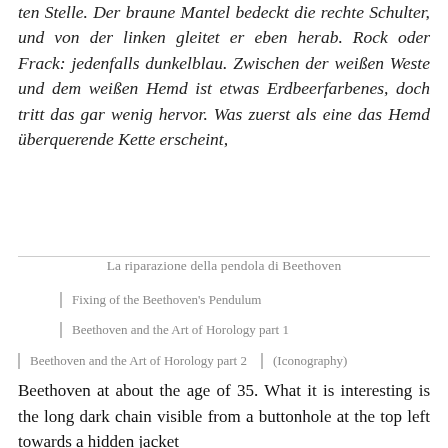ten Stelle. Der braune Mantel bedeckt die rechte Schulter, und von der linken gleitet er eben herab. Rock oder Frack: jedenfalls dunkelblau. Zwischen der weißen Weste und dem weißen Hemd ist etwas Erdbeerfarbenes, doch tritt das gar wenig hervor. Was zuerst als eine das Hemd überquerende Kette erscheint,
La riparazione della pendola di Beethoven
Fixing of the Beethoven's Pendulum
Beethoven and the Art of Horology part 1
Beethoven and the Art of Horology part 2 | (Iconography)
Beethoven at about the age of 35. What it is interesting is the long dark chain visible from a buttonhole at the top left towards a hidden jacket